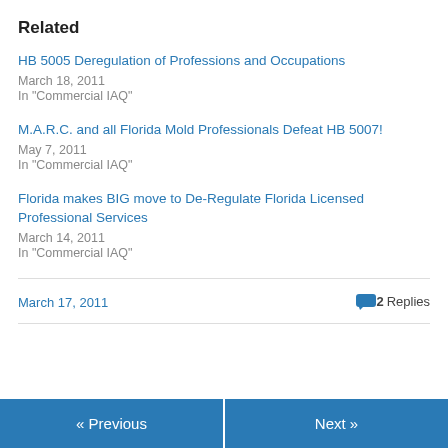Related
HB 5005 Deregulation of Professions and Occupations
March 18, 2011
In "Commercial IAQ"
M.A.R.C. and all Florida Mold Professionals Defeat HB 5007!
May 7, 2011
In "Commercial IAQ"
Florida makes BIG move to De-Regulate Florida Licensed Professional Services
March 14, 2011
In "Commercial IAQ"
March 17, 2011
2 Replies
« Previous
Next »